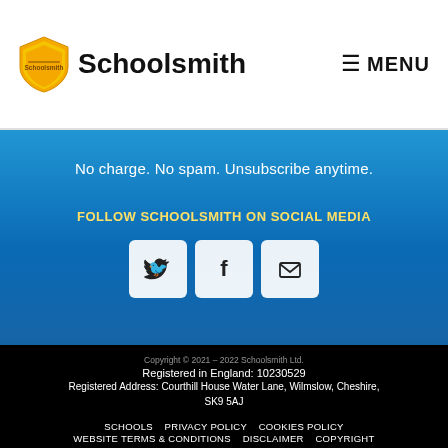[Figure (logo): Schoolsmith shield logo in gold/yellow]
Schoolsmith
≡ MENU
No charge. No spam. Unsubscribe anytime.
FOLLOW SCHOOLSMITH ON SOCIAL MEDIA
[Figure (illustration): Twitter bird icon in white rounded square]
[Figure (illustration): Facebook F icon in white rounded square]
[Figure (illustration): Email envelope icon in white rounded square]
Copyright © 2021 – 2022 Schoolsmith Ltd. Registered in England: 10230529 Registered Address: Courthill House Water Lane, Wilmslow, Cheshire, SK9 5AJ SCHOOLS  PRIVACY POLICY  COOKIES POLICY  WEBSITE TERMS & CONDITIONS  DISCLAIMER  COPYRIGHT  TRADEMARKS